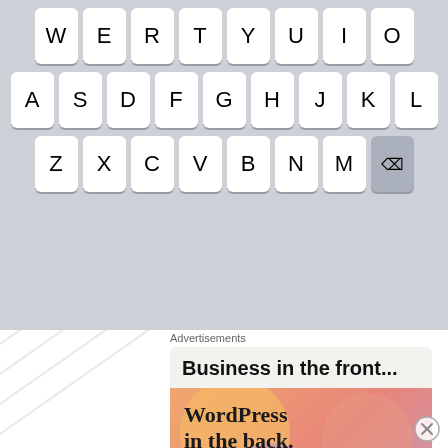[Figure (screenshot): Mobile keyboard screenshot showing rows: W E R T Y U I O (partial), A S D F G H J K L, Z X C V B N M and backspace key, on gray background]
Advertisements
[Figure (screenshot): WordPress VIP advertisement banner. Top section on light beige background reads 'Business in the front...' in bold. Bottom section has orange/pink/purple gradient blobs with 'WordPress in the back.' in bold serif font, WordPress VIP logo, and 'Learn more →' button.]
Advertisements